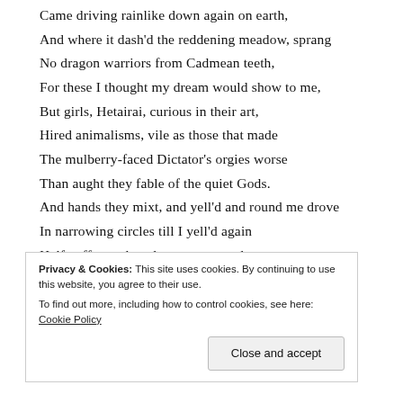Came driving rainlike down again on earth,
And where it dash'd the reddening meadow, sprang
No dragon warriors from Cadmean teeth,
For these I thought my dream would show to me,
But girls, Hetairai, curious in their art,
Hired animalisms, vile as those that made
The mulberry-faced Dictator's orgies worse
Than aught they fable of the quiet Gods.
And hands they mixt, and yell'd and round me drove
In narrowing circles till I yell'd again
Half-suffocated, and sprang up, and saw --
Was it the first beam of my latest day?
Privacy & Cookies: This site uses cookies. By continuing to use this website, you agree to their use. To find out more, including how to control cookies, see here: Cookie Policy